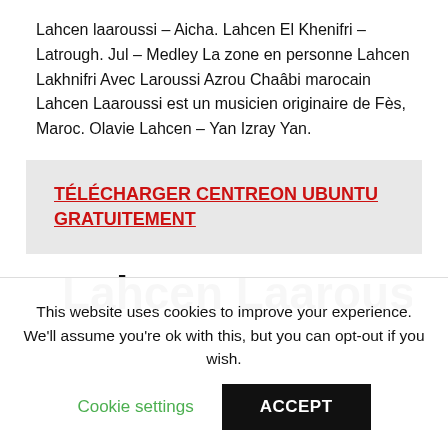Lahcen laaroussi – Aicha. Lahcen El Khenifri – Latrough. Jul – Medley La zone en personne Lahcen Lakhnifri Avec Laroussi Azrou Chaâbi marocain Lahcen Laaroussi est un musicien originaire de Fès, Maroc. Olavie Lahcen – Yan Izray Yan.
TÉLÉCHARGER CENTREON UBUNTU GRATUITEMENT
Lahcen Laaroussi
This website uses cookies to improve your experience. We'll assume you're ok with this, but you can opt-out if you wish.